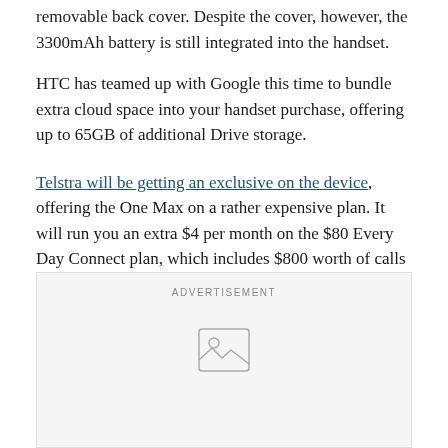removable back cover. Despite the cover, however, the 3300mAh battery is still integrated into the handset.
HTC has teamed up with Google this time to bundle extra cloud space into your handset purchase, offering up to 65GB of additional Drive storage.
Telstra will be getting an exclusive on the device, offering the One Max on a rather expensive plan. It will run you an extra $4 per month on the $80 Every Day Connect plan, which includes $800 worth of calls and MMS, unlimited SMS and 1.5GB of data. That’s on a 24-month contract.
[Figure (other): Advertisement placeholder box with image icon]